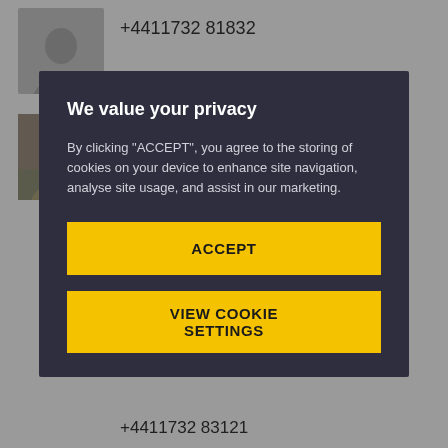+4411732 81832
[Figure (photo): Headshot photo of Armagan Gezici, a woman with dark hair]
Armagan Gezici
Senior Lecturer in Economics
EBL – Accounting, Economics and Finance
We value your privacy
By clicking "ACCEPT", you agree to the storing of cookies on your device to enhance site navigation, analyse site usage, and assist in our marketing.
ACCEPT
VIEW COOKIE SETTINGS
+4411732 83121